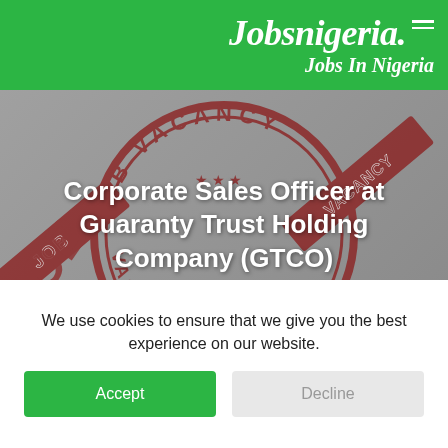Jobsnigeria. / Jobs In Nigeria
[Figure (photo): Job Vacancy rubber stamp background image in red/grey tones with the text 'JOB VACANCY' in large letters forming a circular stamp design]
Corporate Sales Officer at Guaranty Trust Holding Company (GTCO)
ADMIN / JUNE 17, 2022 / SALES & MARKETING JOBS IN NIGERIA
We use cookies to ensure that we give you the best experience on our website.
Accept
Decline